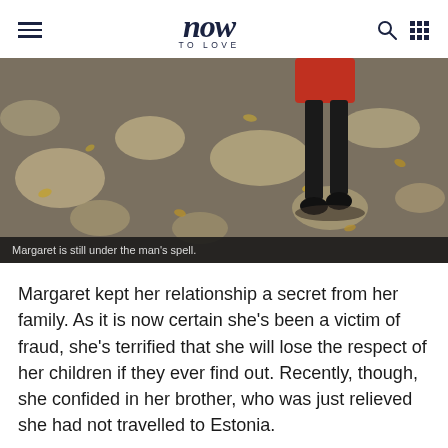now TO LOVE
[Figure (photo): A person's legs from the knees down, wearing black leggings and dark shoes, walking on a dappled-light pavement with fallen autumn leaves.]
Margaret is still under the man's spell.
Margaret kept her relationship a secret from her family. As it is now certain she's been a victim of fraud, she's terrified that she will lose the respect of her children if they ever find out. Recently, though, she confided in her brother, who was just relieved she had not travelled to Estonia.